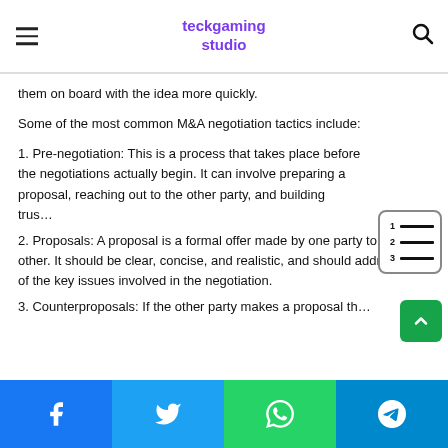teckgaming studio
them on board with the idea more quickly.
Some of the most common M&A negotiation tactics include:
1. Pre-negotiation: This is a process that takes place before the negotiations actually begin. It can involve preparing a proposal, reaching out to the other party, and building trus…
2. Proposals: A proposal is a formal offer made by one party to the other. It should be clear, concise, and realistic, and should address all of the key issues involved in the negotiation.
3. Counterproposals: If the other party makes a proposal th…